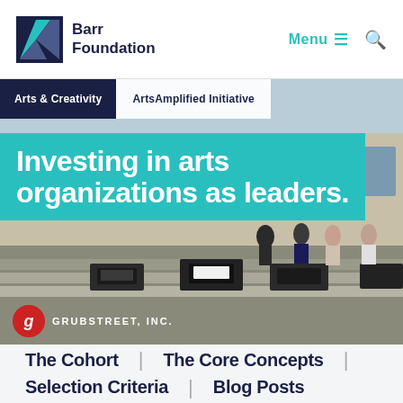Barr Foundation
[Figure (photo): Outdoor scene with people standing near a building, with vintage typewriters displayed on steps in the foreground. Overlay shows breadcrumb navigation 'Arts & Creativity | ArtsAmplified Initiative' and headline 'Investing in arts organizations as leaders.' with GrubStreet, Inc. logo.]
The Cohort | The Core Concepts |
Selection Criteria | Blog Posts